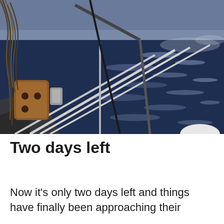[Figure (photo): View from the deck of a sailboat at sea. In the foreground on the left is a wooden block/pulley with ropes and rigging. White metal railings extend diagonally across the frame. The ocean stretches into the background, rough and dark blue, with whitecaps visible. The sky is bright/overcast near the horizon.]
Two days left
Now it's only two days left and things have finally been approaching their